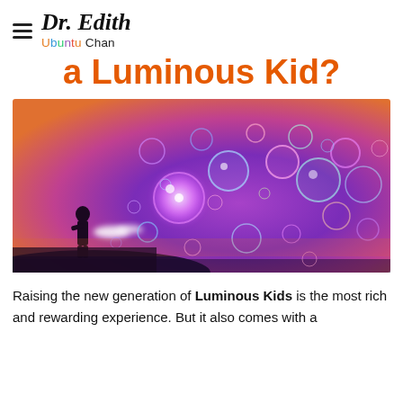Dr. Edith Ubuntu Chan
a Luminous Kid?
[Figure (photo): A child silhouette blowing glowing magical bubbles against a purple and pink twilight sky. The bubbles are luminous and colorful, floating upward and to the right.]
Raising the new generation of Luminous Kids is the most rich and rewarding experience. But it also comes with a